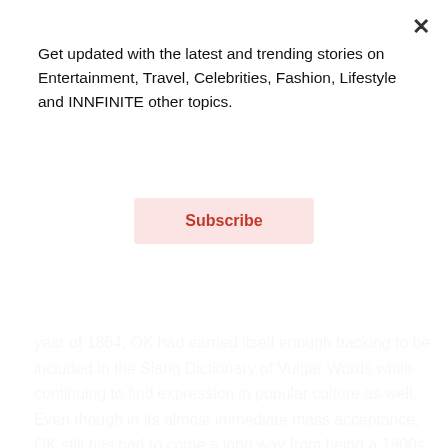Get updated with the latest and trending stories on Entertainment, Travel, Celebrities, Fashion, Lifestyle and INNFINITE other topics.
Subscribe
year of 1864, OK had earned itself enough backing to be included in the Slang Dictionary of Vulgar Words while continuing to find expression in popular culture as well. Even though in its almost immediate mass acceptance, OK still has had to come a long way from being a 1800s reference to being the humble still yet unavoidable form of expression that we are pressed into using in a range of different dimensions- as different figures of speech, as conveyer of different degrees of acceptability, as different extents of assent and acknowledgement and even as a speculative question to end all speculations. And within such myriad modes of its